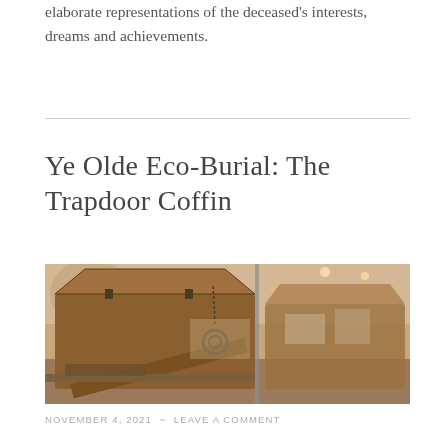elaborate representations of the deceased's interests, dreams and achievements.
Ye Olde Eco-Burial: The Trapdoor Coffin
[Figure (photo): Photograph of an old wooden trapdoor coffin with metal hardware displayed in a museum setting, shown open with the hinged bottom panel dropped down. Multiple wooden coffins visible in background.]
NOVEMBER 4, 2021 ~ LEAVE A COMMENT